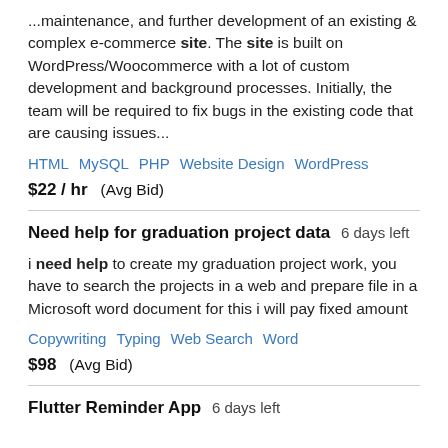...maintenance, and further development of an existing & complex e-commerce site. The site is built on WordPress/Woocommerce with a lot of custom development and background processes. Initially, the team will be required to fix bugs in the existing code that are causing issues...
HTML   MySQL   PHP   Website Design   WordPress
$22 / hr   (Avg Bid)
Need help for graduation project data   6 days left
i need help to create my graduation project work, you have to search the projects in a web and prepare file in a Microsoft word document for this i will pay fixed amount
Copywriting   Typing   Web Search   Word
$98   (Avg Bid)
Flutter Reminder App   6 days left